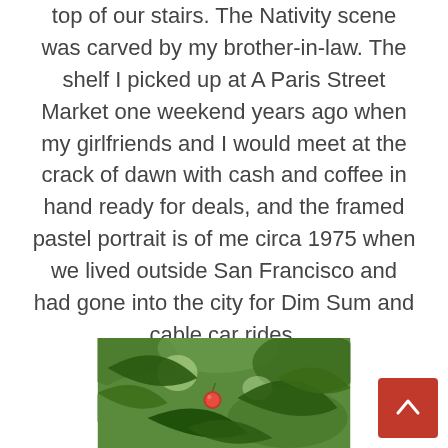top of our stairs. The Nativity scene was carved by my brother-in-law. The shelf I picked up at A Paris Street Market one weekend years ago when my girlfriends and I would meet at the crack of dawn with cash and coffee in hand ready for deals, and the framed pastel portrait is of me circa 1975 when we lived outside San Francisco and had gone into the city for Dim Sum and cable car rides.
[Figure (photo): A close-up photo of green leaves and what appears to be a small red fruit or berry among the foliage.]